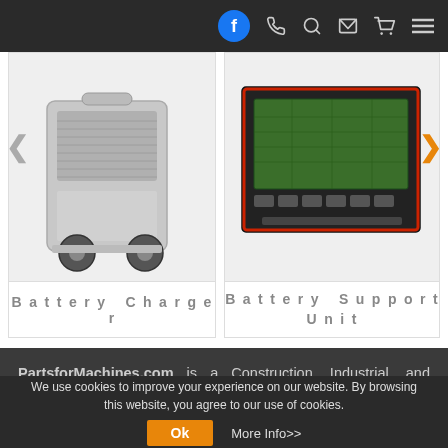Navigation bar with Facebook, phone, search, email, cart, menu icons
[Figure (photo): Battery Charger product image - grey wheeled industrial battery charger unit]
Battery Charger
[Figure (photo): Battery Support Unit product image - electronic panel with display screen]
Battery Support Unit
PartsforMachines.com is a Construction, Industrial, and Agricultural equipment focused eCommerce business that sells parts and services. We want to be the platform of choice for owners of machinery looking for parts and
We use cookies to improve your experience on our website. By browsing this website, you agree to our use of cookies.